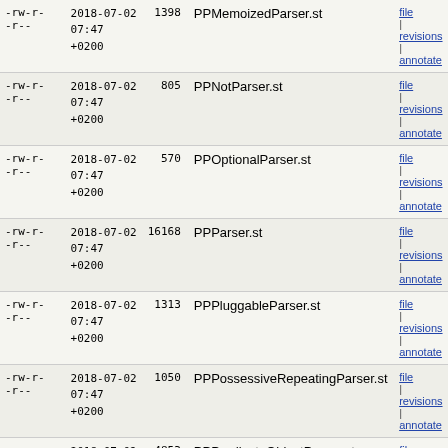| perms | date | size | name | links |
| --- | --- | --- | --- | --- |
| -rw-r--r-- | 2018-07-02 07:47 +0200 | 1398 | PPMemoizedParser.st | file | revisions | annotate |
| -rw-r--r-- | 2018-07-02 07:47 +0200 | 805 | PPNotParser.st | file | revisions | annotate |
| -rw-r--r-- | 2018-07-02 07:47 +0200 | 570 | PPOptionalParser.st | file | revisions | annotate |
| -rw-r--r-- | 2018-07-02 07:47 +0200 | 16168 | PPParser.st | file | revisions | annotate |
| -rw-r--r-- | 2018-07-02 07:47 +0200 | 1313 | PPPluggableParser.st | file | revisions | annotate |
| -rw-r--r-- | 2018-07-02 07:47 +0200 | 1050 | PPPossessiveRepeatingParser.st | file | revisions | annotate |
| -rw-r--r-- | 2018-07-02 07:47 +0200 | 4853 | PPPredicateObjectParser.st | file | revisions | annotate |
| -rw-r--r-- | 2018-07-02 07:47 +0200 | 1208 | PPPredicateParser.st | file | revisions | annotate |